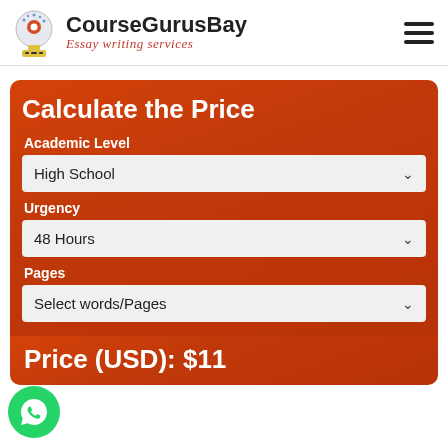CourseGurusBay — Essay writing services
Calculate the Price
Academic Level
High School
Urgency
48 Hours
Pages
Select words/Pages
Price (USD): $11